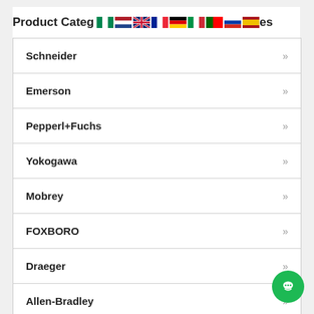Product Categories
Schneider
Emerson
Pepperl+Fuchs
Yokogawa
Mobrey
FOXBORO
Draeger
Allen-Bradley
Siemens
Rosemount
Endress Hauser
Honeywell
ABB